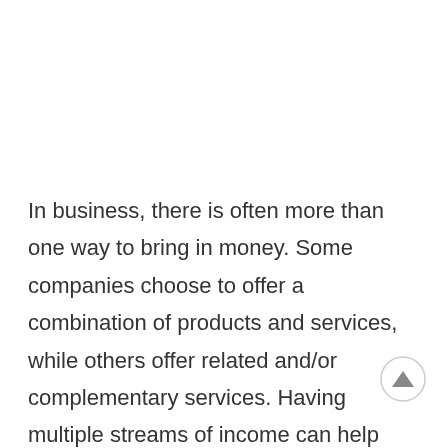In business, there is often more than one way to bring in money. Some companies choose to offer a combination of products and services, while others offer related and/or complementary services. Having multiple streams of income can help grow a business and can also help insulate a company during …